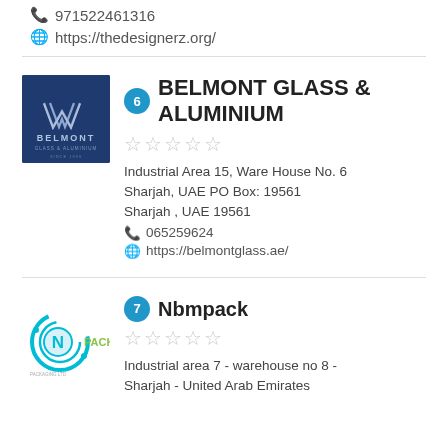971522461316
https://thedesignerz.org/
[Figure (logo): Belmont Glass & Aluminium company logo on dark blue background]
BELMONT GLASS & ALUMINIUM
Industrial Area 15, Ware House No. 6
Sharjah, UAE PO Box: 19561
Sharjah , UAE 19561
065259624
https://belmontglass.ae/
[Figure (logo): Nbmpack company logo with N in circle and teal design]
Nbmpack
Industrial area 7 - warehouse no 8 - Sharjah - United Arab Emirates